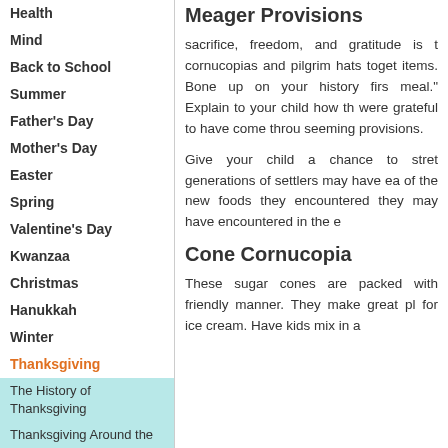Health
Mind
Back to School
Summer
Father's Day
Mother's Day
Easter
Spring
Valentine's Day
Kwanzaa
Christmas
Hanukkah
Winter
Thanksgiving
The History of Thanksgiving
Thanksgiving Around the World
Decorating for Thanksgiving
Decorating Your Table
Meager Provisions
sacrifice, freedom, and gratitude is t... cornucopias and pilgrim hats toget... items. Bone up on your history firs... meal." Explain to your child how th... were grateful to have come throu... seeming provisions.
Cone Cornucopia
These sugar cones are packed with... friendly manner. They make great pl... for ice cream. Have kids mix in a...